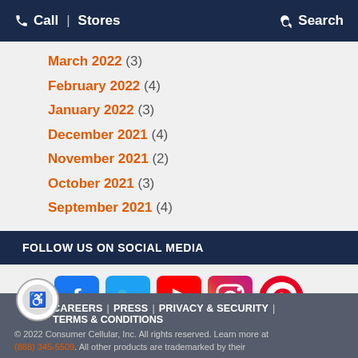Call | Stores | Search
March 2022 (3)
February 2022 (4)
January 2022 (3)
December 2021 (4)
November 2021 (2)
October 2021 (3)
September 2021 (4)
FOLLOW US ON SOCIAL MEDIA
[Figure (infographic): Social media icons: Facebook, Twitter, YouTube, Instagram, Pinterest]
CAREERS | PRESS | PRIVACY & SECURITY | TERMS & CONDITIONS
© 2022 Consumer Cellular, Inc. All rights reserved. Learn more at (888) 345-5509. All other products are trademarked by their